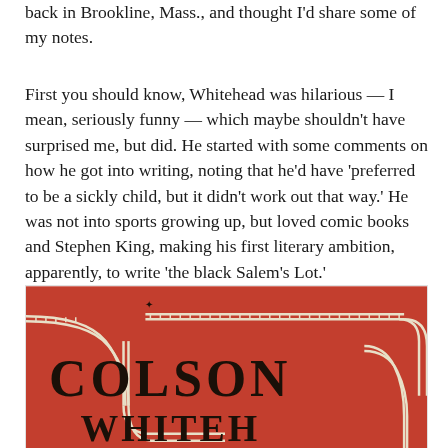back in Brookline, Mass., and thought I'd share some of my notes.
First you should know, Whitehead was hilarious — I mean, seriously funny — which maybe shouldn't have surprised me, but did. He started with some comments on how he got into writing, noting that he'd have 'preferred to be a sickly child, but it didn't work out that way.' He was not into sports growing up, but loved comic books and Stephen King, making his first literary ambition, apparently, to write 'the black Salem's Lot.'
[Figure (illustration): Book cover showing the name COLSON (and partially WHITEHEAD below) in bold black serif letters on a red/orange background with decorative railroad track patterns forming winding curves.]